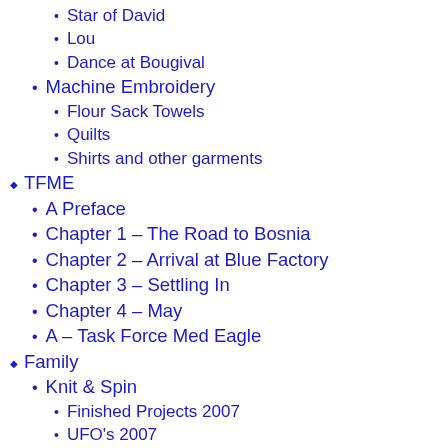Star of David
Lou
Dance at Bougival
Machine Embroidery
Flour Sack Towels
Quilts
Shirts and other garments
TFME
A Preface
Chapter 1 – The Road to Bosnia
Chapter 2 – Arrival at Blue Factory
Chapter 3 – Settling In
Chapter 4 – May
A – Task Force Med Eagle
Family
Knit & Spin
Finished Projects 2007
UFO's 2007
Finished Socks 2008
Finished Socks – 2007
Finished Socks – 2006
Prior to 2006 – Socks